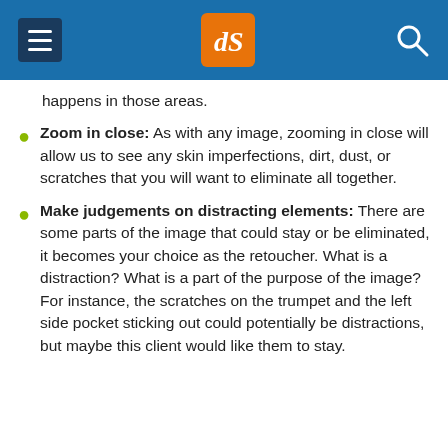dPS (Digital Photography School)
happens in those areas.
Zoom in close: As with any image, zooming in close will allow us to see any skin imperfections, dirt, dust, or scratches that you will want to eliminate all together.
Make judgements on distracting elements: There are some parts of the image that could stay or be eliminated, it becomes your choice as the retoucher. What is a distraction? What is a part of the purpose of the image? For instance, the scratches on the trumpet and the left side pocket sticking out could potentially be distractions, but maybe this client would like them to stay.